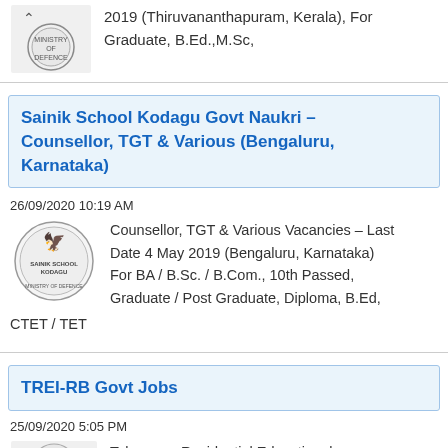2019 (Thiruvananthapuram, Kerala), For Graduate, B.Ed.,M.Sc,
Sainik School Kodagu Govt Naukri – Counsellor, TGT & Various (Bengaluru, Karnataka)
26/09/2020 10:19 AM
Counsellor, TGT & Various Vacancies – Last Date 4 May 2019 (Bengaluru, Karnataka) For BA / B.Sc. / B.Com., 10th Passed, Graduate / Post Graduate, Diploma, B.Ed, CTET / TET
TREI-RB Govt Jobs
25/09/2020 5:05 PM
Telangana Residential Educational